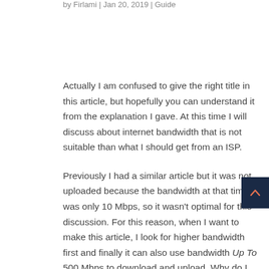by Firlami | Jan 20, 2019 | Guide
Actually I am confused to give the right title in this article, but hopefully you can understand it from the explanation I gave. At this time I will discuss about internet bandwidth that is not suitable than what I should get from an ISP.
Previously I had a similar article but it was not uploaded because the bandwidth at that time was only 10 Mbps, so it wasn't optimal for this discussion. For this reason, when I want to make this article, I look for higher bandwidth first and finally it can also use bandwidth Up To 500 Mbps to download and upload. Why do I use the